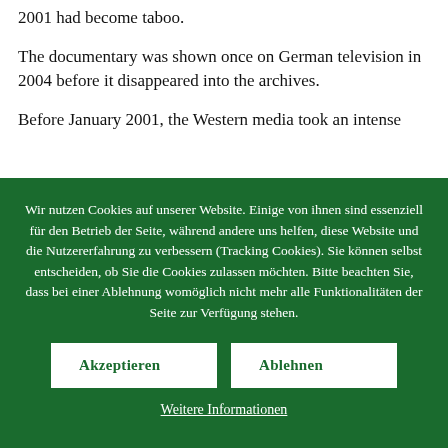2001 had become taboo.
The documentary was shown once on German television in 2004 before it disappeared into the archives.
Before January 2001, the Western media took an intense
Wir nutzen Cookies auf unserer Website. Einige von ihnen sind essenziell für den Betrieb der Seite, während andere uns helfen, diese Website und die Nutzererfahrung zu verbessern (Tracking Cookies). Sie können selbst entscheiden, ob Sie die Cookies zulassen möchten. Bitte beachten Sie, dass bei einer Ablehnung womöglich nicht mehr alle Funktionalitäten der Seite zur Verfügung stehen.
Akzeptieren
Ablehnen
Weitere Informationen